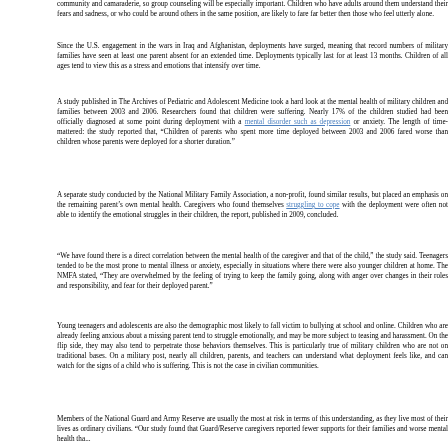community and camaraderie, so group counseling will be especially important. Children who have adults around them understand their fears and sadness, or who could be around others in the same position, are likely to fare far better then those who feel utterly alone.
Since the U.S. engagement in the wars in Iraq and Afghanistan, deployments have surged, meaning that record numbers of military families have seen at least one parent absent for an extended time. Deployments typically last for at least 13 months. Children of all ages tend to view this as a stress and emotions that intensify over time.
A study published in The Archives of Pediatric and Adolescent Medicine took a hard look at the mental health of military children and families between 2003 and 2006. Researchers found that children were suffering. Nearly 17% of the children studied had been officially diagnosed at some point during deployment with a mental disorder such as depression or anxiety. The length of time mattered: the study reported that, "Children of parents who spent more time deployed between 2003 and 2006 fared worse than children whose parents were deployed for a shorter duration."
A separate study conducted by the National Military Family Association, a non-profit, found similar results, but placed an emphasis on the remaining parent's own mental health. Caregivers who found themselves struggling to cope with the deployment were often not able to identify the emotional struggles in their children, the report, published in 2009, concluded.
"We have found there is a direct correlation between the mental health of the caregiver and that of the child," the study said. Teenagers tended to be the most prone to mental illness or anxiety, especially in situations where there were also younger children at home. The NMFA stated, "They are overwhelmed by the feeling of trying to keep the family going, along with anger over changes in their roles and responsibility, and fear for their deployed parent."
Young teenagers and adolescents are also the demographic most likely to fall victim to bullying at school and online. Children who are already feeling anxious about a missing parent tend to struggle emotionally, and may be more subject to teasing and harassment. On the flip side, they may also tend to perpetrate those behaviors themselves. This is particularly true of military children who are not on traditional bases. On a military post, nearly all children, parents, and teachers can understand what deployment feels like, and can watch for the signs of a child who is suffering. This is not the case in civilian communities.
Members of the National Guard and Army Reserve are usually the most at risk in terms of this understanding, as they live most of their lives as ordinary civilians. "Our study found that Guard/Reserve caregivers reported fewer supports for their families and worse mental health tha...